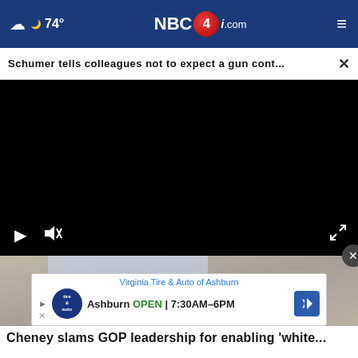74° NBC4i.com
Schumer tells colleagues not to expect a gun cont...
[Figure (screenshot): Black video player with play button, mute button, and fullscreen button controls at bottom]
[Figure (photo): Photo of a blonde woman partially visible behind an advertisement banner for Virginia Tire & Auto of Ashburn showing OPEN 7:30AM-6PM]
Cheney slams GOP leadership for enabling 'white...